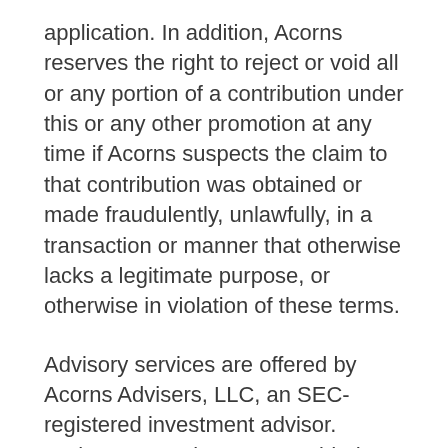application. In addition, Acorns reserves the right to reject or void all or any portion of a contribution under this or any other promotion at any time if Acorns suspects the claim to that contribution was obtained or made fraudulently, unlawfully, in a transaction or manner that otherwise lacks a legitimate purpose, or otherwise in violation of these terms.
Advisory services are offered by Acorns Advisers, LLC, an SEC-registered investment advisor. Brokerage services are provided to clients of Acorns Advisers by Acorns Securities, LLC, an SEC-registered broker-dealer and member FINRA/SIPC. Investments are not FDIC insured. Investing involves risk and investments may lose value. Please consider your objectives and Acorns Advisers' fees before investing. Past performance